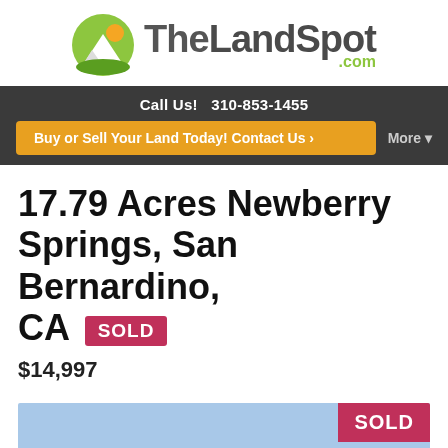[Figure (logo): TheLandSpot.com logo with mountain/sun circle icon and bold text]
Call Us!  310-853-1455
Buy or Sell Your Land Today! Contact Us ›
More ▾
17.79 Acres Newberry Springs, San Bernardino, CA SOLD
$14,997
[Figure (photo): Light blue placeholder image with red SOLD badge in top-right corner]